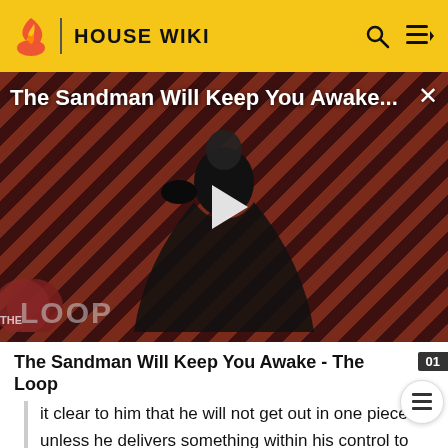HOUSE WIKI
[Figure (screenshot): Video thumbnail for 'The Sandman Will Keep You Awake...' showing a dark figure in a black cape against a diagonal red and black striped background with 'THE LOOP' watermark. A white play button triangle is centered on the image.]
The Sandman Will Keep You Awake - The Loop
it clear to him that he will not get out in one piece unless he delivers something within his control to them as an "exit